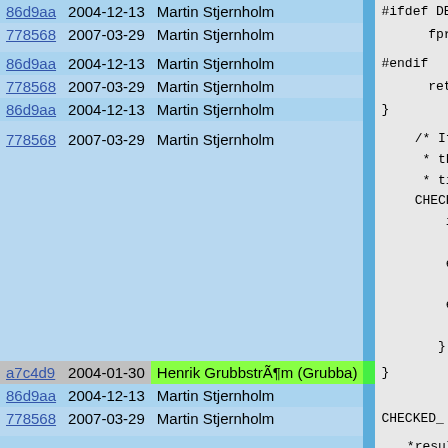| hash | date | author |  | code |
| --- | --- | --- | --- | --- |
| 86d9aa | 2004-12-13 | Martin Stjernholm |  | #ifdef DEB |
| 778568 | 2007-03-29 | Martin Stjernholm |  | fpri |
| 86d9aa | 2004-12-13 | Martin Stjernholm |  | #endif |
| 778568 | 2007-03-29 | Martin Stjernholm |  | retu |
| 86d9aa | 2004-12-13 | Martin Stjernholm |  | } |
| 778568 | 2007-03-29 | Martin Stjernholm |  | /* It'
 * thi
 * tim
CHECKE
if

el

el

}); |
| a7c4d9 | 2004-01-30 | Henrik GrubbstrÃ¶m (Grubba) |  | } |
| 86d9aa | 2004-12-13 | Martin Stjernholm |  |  |
| 778568 | 2007-03-29 | Martin Stjernholm |  | CHECKED_ |
| 86d9aa | 2004-12-13 | Martin Stjernholm |  | *result
return 1 |